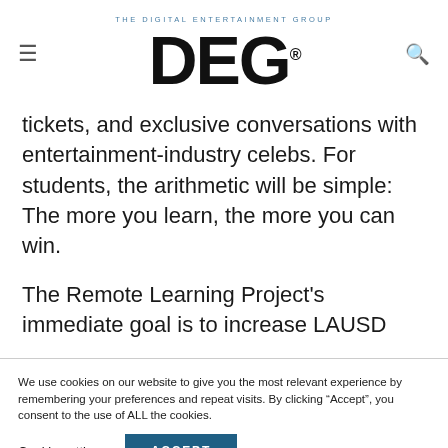THE DIGITAL ENTERTAINMENT GROUP DEG
tickets, and exclusive conversations with entertainment-industry celebs. For students, the arithmetic will be simple: The more you learn, the more you can win.
The Remote Learning Project's immediate goal is to increase LAUSD
We use cookies on our website to give you the most relevant experience by remembering your preferences and repeat visits. By clicking “Accept”, you consent to the use of ALL the cookies.